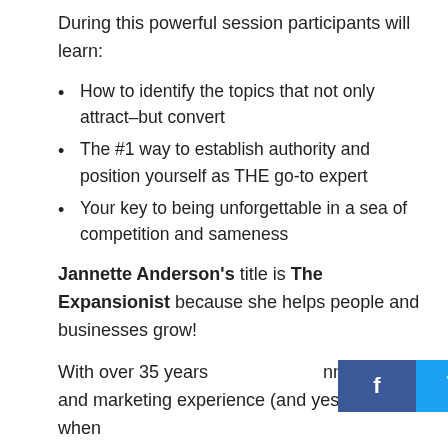During this powerful session participants will learn:
How to identify the topics that not only attract–but convert
The #1 way to establish authority and position yourself as THE go-to expert
Your key to being unforgettable in a sea of competition and sameness
Jannette Anderson's title is The Expansionist because she helps people and businesses grow!
With over 35 years [social bar overlay] nning, sales and marketing experience (and yes she started when